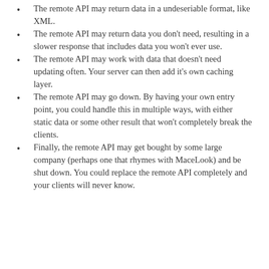The remote API may return data in a undeseriable format, like XML.
The remote API may return data you don't need, resulting in a slower response that includes data you won't ever use.
The remote API may work with data that doesn't need updating often. Your server can then add it's own caching layer.
The remote API may go down. By having your own entry point, you could handle this in multiple ways, with either static data or some other result that won't completely break the clients.
Finally, the remote API may get bought by some large company (perhaps one that rhymes with MaceLook) and be shut down. You could replace the remote API completely and your clients will never know.